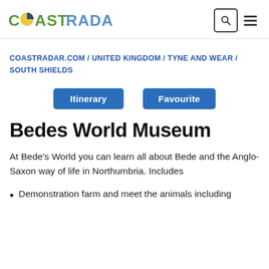COAST RADAR
COASTRADAR.COM / UNITED KINGDOM / TYNE AND WEAR / SOUTH SHIELDS
Itinerary   Favourite
Bedes World Museum
At Bede's World you can learn all about Bede and the Anglo-Saxon way of life in Northumbria. Includes
Demonstration farm and meet the animals including